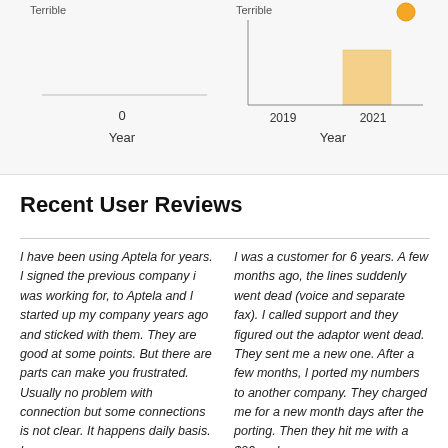[Figure (bar-chart): ]
[Figure (bar-chart): ]
Recent User Reviews
I have been using Aptela for years. I signed the previous company i was working for, to Aptela and I started up my company years ago and sticked with them. They are good at some points. But there are parts can make you frustrated. Usually no problem with connection but some connections is not clear. It happens daily basis. I use
I was a customer for 6 years. A few months ago, the lines suddenly went dead (voice and separate fax). I called support and they figured out the adaptor went dead. They sent me a new one. After a few months, I ported my numbers to another company. They charged me for a new month days after the porting. Then they hit me with a $90 early